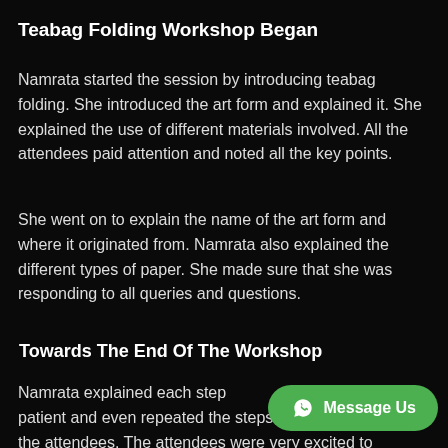Teabag Folding Workshop Began
Namrata started the session by introducing teabag folding. She introduced the art form and explained it. She explained the use of different materials involved. All the attendees paid attention and noted all the key points.
She went on to explain the name of the art form and where it originated from. Namrata also explained the different types of paper. She made sure that she was responding to all queries and questions.
Towards The End Of The Workshop
Namrata explained each step patient and even repeated the steps as per the request of the attendees. The attendees were very excited to
[Figure (other): WhatsApp 'Message Us' button overlay — green rounded rectangle with WhatsApp phone icon and text 'Message Us']